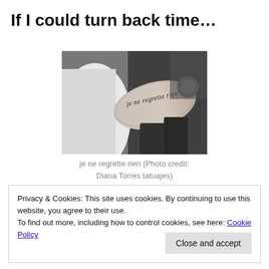If I could turn back time…
[Figure (photo): Black and white photo of a person's arm with a script tattoo reading 'je ne regrette rien' in a gym/tattoo setting]
je ne regrette rien (Photo credit: Diana Torres tatuajes)
Privacy & Cookies: This site uses cookies. By continuing to use this website, you agree to their use.
To find out more, including how to control cookies, see here: Cookie Policy